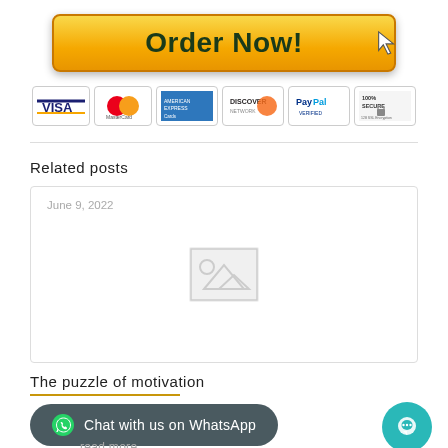[Figure (illustration): Orange gradient 'Order Now!' button with cursor icon]
[Figure (illustration): Payment method icons: VISA, MasterCard, American Express, DISCOVER, PayPal Verified, 100% SECURE 128 SSL Encryption]
Related posts
[Figure (illustration): Blog post card with date June 9, 2022 and placeholder image icon]
The puzzle of motivation
[Figure (illustration): WhatsApp chat button and teal chat bubble icon]